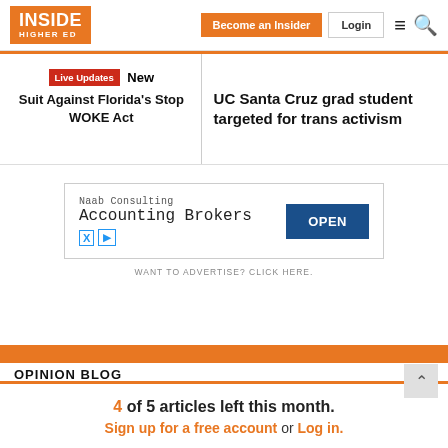INSIDE HIGHER ED
Live Updates New Suit Against Florida's Stop WOKE Act
UC Santa Cruz grad student targeted for trans activism
[Figure (screenshot): Advertisement for Naab Consulting Accounting Brokers with OPEN button]
WANT TO ADVERTISE? CLICK HERE.
4 of 5 articles left this month. Sign up for a free account or Log in.